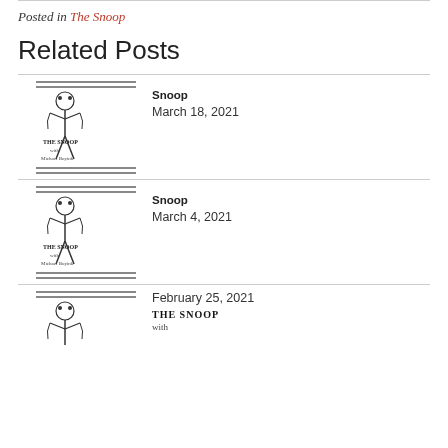Posted in The Snoop
Related Posts
[Figure (illustration): The Snoop newsletter thumbnail with decorative figure and double horizontal rules, labeled THE SNOOP with Michael Boyink]
Snoop March 18, 2021
[Figure (illustration): The Snoop newsletter thumbnail with decorative figure and double horizontal rules, labeled THE SNOOP with Michael Boyink]
Snoop March 4, 2021
[Figure (illustration): The Snoop newsletter thumbnail with decorative figure, labeled THE SNOOP with]
February 25, 2021